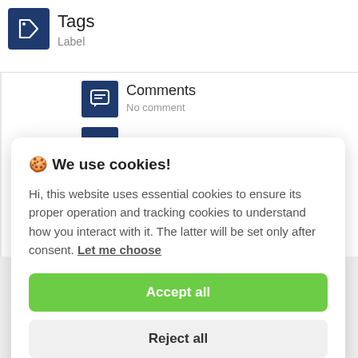[Figure (screenshot): Tags icon - dark navy square with white tag/label icon]
Tags
Label
[Figure (screenshot): Comments icon - dark navy square with white speech bubble icon]
Comments
No comment
[Figure (screenshot): Category icon - dark navy square with white folder icon]
Category
[Figure (screenshot): Date icon - dark navy square with white calendar icon]
Date
6/23/2022
🍪 We use cookies!
Hi, this website uses essential cookies to ensure its proper operation and tracking cookies to understand how you interact with it. The latter will be set only after consent. Let me choose
Accept all
Reject all